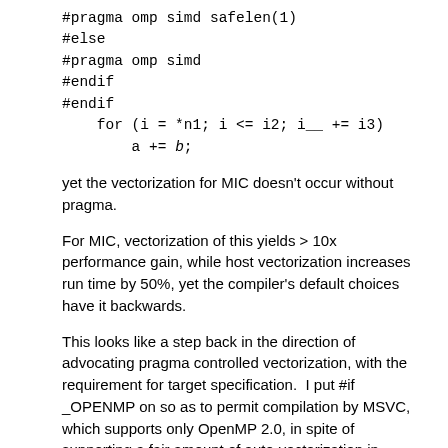#pragma omp simd safelen(1)
#else
#pragma omp simd
#endif
#endif
    for (i = *n1; i <= i2; i__ += i3)
        a += b;
yet the vectorization for MIC doesn't occur without pragma.
For MIC, vectorization of this yields > 10x performance gain, while host vectorization increases run time by 50%, yet the compiler's default choices have it backwards.
This looks like a step back in the direction of advocating pragma controlled vectorization, with the requirement for target specification.  I put #if _OPENMP on so as to permit compilation by MSVC, which supports only OpenMP 2.0, in spite of supporting a fair amount of auto-vectorization in